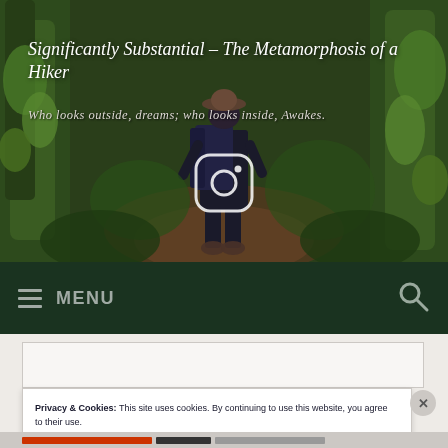[Figure (photo): Hero banner image of a hiker walking along a forest trail surrounded by moss-covered trees and lush green vegetation. The hiker is wearing a hat and backpack, viewed from behind. An Instagram icon/logo is overlaid in the center of the image.]
Significantly Substantial – The Metamorphosis of a Hiker
Who looks outside, dreams; who looks inside, Awakes.
≡ MENU
Privacy & Cookies: This site uses cookies. By continuing to use this website, you agree to their use.
To find out more, including how to control cookies, see here: Cookie Policy
Close and accept